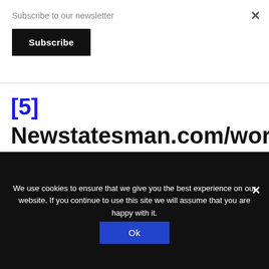Subscribe to our newsletter
Subscribe
[5] Newstatesman.com/world-affairs/2014/11/wahhabism-isis-how-saudi-arabia-exported-main-source-global-terrorism.
We use cookies to ensure that we give you the best experience on our website. If you continue to use this site we will assume that you are happy with it.
Ok